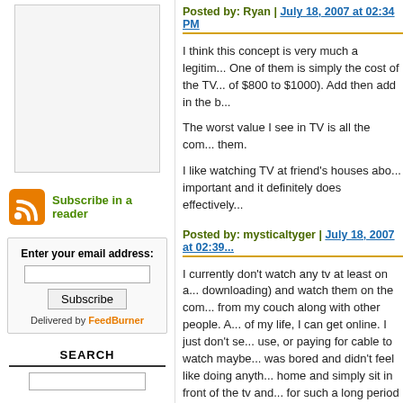[Figure (other): Advertisement placeholder box (light gray rectangle)]
Subscribe in a reader
Enter your email address: [input field] Subscribe Delivered by FeedBurner
SEARCH
Posted by: Ryan | July 18, 2007 at 02:34 PM
I think this concept is very much a legitim... One of them is simply the cost of the TV... of $800 to $1000). Add then add in the b...
The worst value I see in TV is all the com... them.
I like watching TV at friend's houses abo... important and it definitely does effectively...
Posted by: mysticaltyger | July 18, 2007 at 02:39...
I currently don't watch any tv at least on a... downloading) and watch them on the com... from my couch along with other people. A... of my life, I can get online. I just don't se... use, or paying for cable to watch maybe... was bored and didn't feel like doing anyth... home and simply sit in front of the tv and... for such a long period of time.